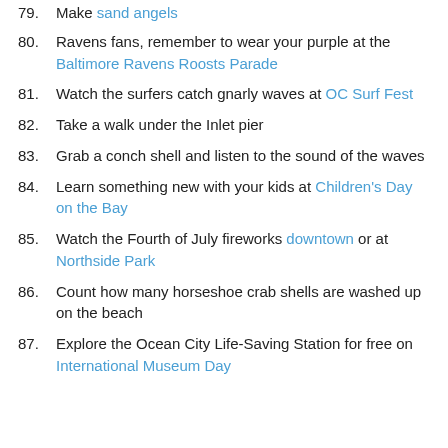79. Make sand angels
80. Ravens fans, remember to wear your purple at the Baltimore Ravens Roosts Parade
81. Watch the surfers catch gnarly waves at OC Surf Fest
82. Take a walk under the Inlet pier
83. Grab a conch shell and listen to the sound of the waves
84. Learn something new with your kids at Children's Day on the Bay
85. Watch the Fourth of July fireworks downtown or at Northside Park
86. Count how many horseshoe crab shells are washed up on the beach
87. Explore the Ocean City Life-Saving Station for free on International Museum Day